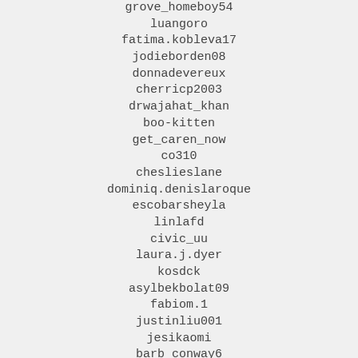grove_homeboy54
luangoro
fatima.kobleva17
jodieborden08
donnadevereux
cherricp2003
drwajahat_khan
boo-kitten
get_caren_now
co310
cheslieslane
dominiq.denislaroque
escobarsheyla
linlafd
civic_uu
laura.j.dyer
kosdck
asylbekbolat09
fabiom.1
justinliu001
jesikaomi
barb_conway6
inanc0982
claudiamorenah16
glasha5158